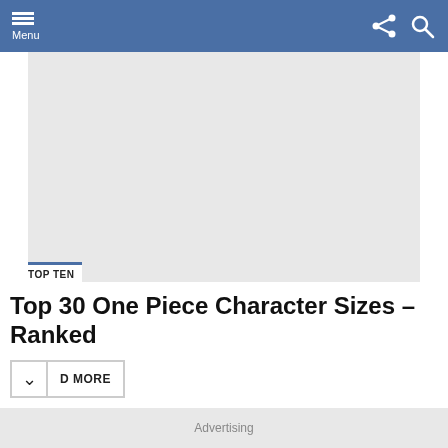Menu
[Figure (other): Gray banner/advertisement placeholder area]
TOP TEN
Top 30 One Piece Character Sizes – Ranked
D MORE
Advertising